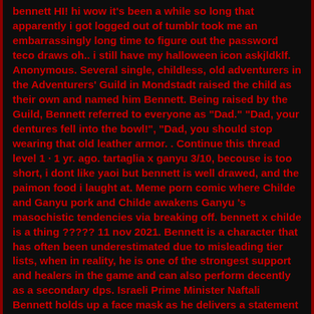bennett HI! hi wow it's been a while so long that apparently i got logged out of tumblr took me an embarrassingly long time to figure out the password teco draws oh.. i still have my halloween icon askjldklf. Anonymous. Several single, childless, old adventurers in the Adventurers' Guild in Mondstadt raised the child as their own and named him Bennett. Being raised by the Guild, Bennett referred to everyone as "Dad." "Dad, your dentures fell into the bowl!", "Dad, you should stop wearing that old leather armor. . Continue this thread level 1 · 1 yr. ago. tartaglia x ganyu 3/10, becouse is too short, i dont like yaoi but bennett is well drawed, and the paimon food i laught at. Meme porn comic where Childe and Ganyu pork and Childe awakens Ganyu 's masochistic tendencies via breaking off. bennett x childe is a thing ????? 11 nov 2021. Bennett is a character that has often been underestimated due to misleading tier lists, when in reality, he is one of the strongest support and healers in the game and can also perform decently as a secondary dps. Israeli Prime Minister Naftali Bennett holds up a face mask as he delivers a statement on the